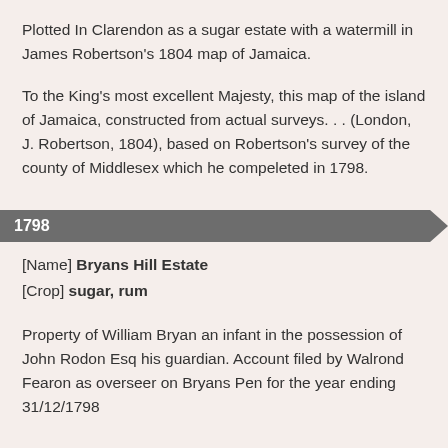Plotted In Clarendon as a sugar estate with a watermill in James Robertson's 1804 map of Jamaica.
To the King's most excellent Majesty, this map of the island of Jamaica, constructed from actual surveys. . . (London, J. Robertson, 1804), based on Robertson's survey of the county of Middlesex which he compeleted in 1798.
1798
[Name] Bryans Hill Estate
[Crop] sugar, rum
Property of William Bryan an infant in the possession of John Rodon Esq his guardian. Account filed by Walrond Fearon as overseer on Bryans Pen for the year ending 31/12/1798